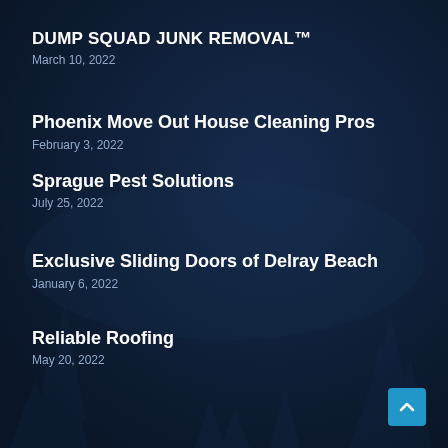DUMP SQUAD JUNK REMOVAL™
March 10, 2022
Phoenix Move Out House Cleaning Pros
February 3, 2022
Sprague Pest Solutions
July 25, 2022
Exclusive Sliding Doors of Delray Beach
January 6, 2022
Reliable Roofing
May 20, 2022